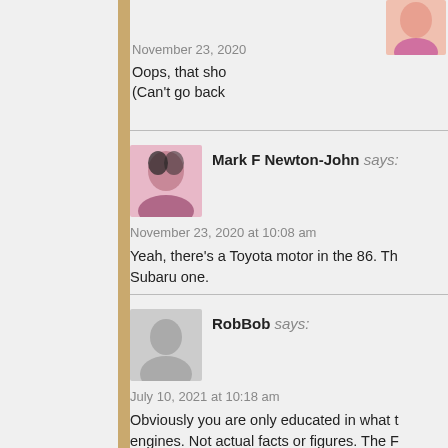November 23, 2020
Oops, that sho (Can't go back
Mark F Newton-John says:
November 23, 2020 at 10:08 am
Yeah, there's a Toyota motor in the 86. The Subaru one.
RobBob says:
July 10, 2021 at 10:18 am
Obviously you are only educated in what the engines. Not actual facts or figures. The F and seal failures that the NA 2.5 EJ had. E often as people on the internet like to spre gasket issues at all. The ringland issues w making sure they have oil in the car while
-220K mile WRX owner.
Damian says: